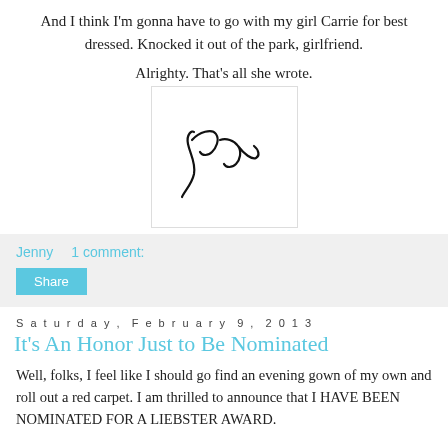And I think I'm gonna have to go with my girl Carrie for best dressed. Knocked it out of the park, girlfriend.
Alrighty. That's all she wrote.
[Figure (illustration): A handwritten cursive signature reading 'Jen' inside a bordered box]
Jenny    1 comment:
Share
Saturday, February 9, 2013
It's An Honor Just to Be Nominated
Well, folks, I feel like I should go find an evening gown of my own and roll out a red carpet. I am thrilled to announce that I HAVE BEEN NOMINATED FOR A LIEBSTER AWARD.